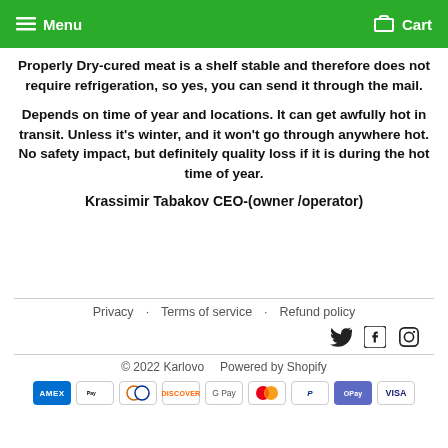Menu   Cart
Properly Dry-cured meat is a shelf stable and therefore does not require refrigeration, so yes, you can send it through the mail.
Depends on time of year and locations. It can get awfully hot in transit. Unless it's winter, and it won't go through anywhere hot. No safety impact, but definitely quality loss if it is during the hot time of year.
Krassimir Tabakov CEO-(owner /operator)
Privacy   Terms of service   Refund policy
© 2022 Karlovo   Powered by Shopify